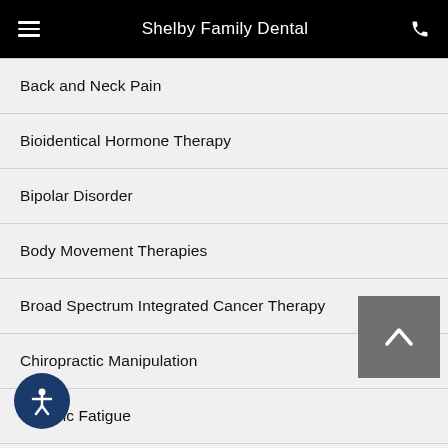Shelby Family Dental
Back and Neck Pain
Bioidentical Hormone Therapy
Bipolar Disorder
Body Movement Therapies
Broad Spectrum Integrated Cancer Therapy
Chiropractic Manipulation
Chronic Fatigue
Chronic Fatigue Syndrome